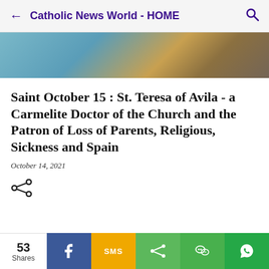Catholic News World - HOME
[Figure (photo): Blurred background photo with warm tones, top portion of article page]
Saint October 15 : St. Teresa of Avila - a Carmelite Doctor of the Church and the Patron of Loss of Parents, Religious, Sickness and Spain
October 14, 2021
[Figure (infographic): Share icon (less-than sign style share button)]
[Figure (photo): Bottom strip photo showing a religious statue figure]
53 Shares — Facebook, SMS, Share, WeChat, WhatsApp share buttons